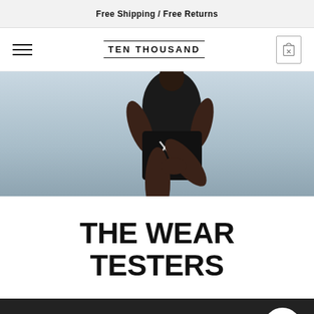Free Shipping / Free Returns
TEN THOUSAND
[Figure (photo): Athletic person in black shorts and shirt stretching or warming up against a light sky background, wearing Ten Thousand branded apparel with X logo on shorts]
THE WEAR TESTERS
SELECT SIZE + COLOR
marathoners, and run community icons, every detail of the